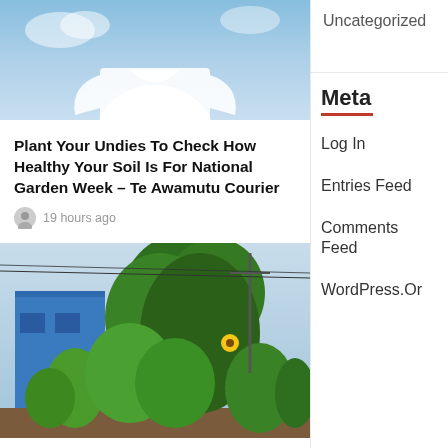[Figure (photo): Partial top image showing a light blue sky background with what appears to be white clothing/shirt, cropped at top]
Plant Your Undies To Check How Healthy Your Soil Is For National Garden Week – Te Awamutu Courier
19 hours ago
Uncategorized
Meta
[Figure (photo): Lush garden with colorful flowers including sunflowers and red flowers, tall green plants and vines, blue building in background, power lines visible]
Tips For Layering Color, Texture And Plant Size In The Garden – Walla Walla Union-Bulletin
1 day ago
Log In
Entries Feed
Comments Feed
WordPress.Or